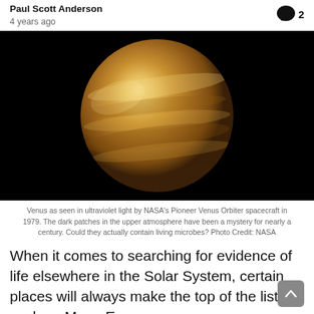By Paul Scott Anderson
4 years ago
[Figure (photo): Venus as seen in ultraviolet light, a golden-brown sphere against a black background, showing swirling cloud patterns.]
Venus as seen in ultraviolet light by NASA's Pioneer Venus Orbiter spacecraft in 1979. The dark patches in the upper atmosphere have been a mystery for nearly a century. Could they actually contain living microbes? Photo Credit: NASA
When it comes to searching for evidence of life elsewhere in the Solar System, certain places will always make the top of the list, such as Mars, Europa